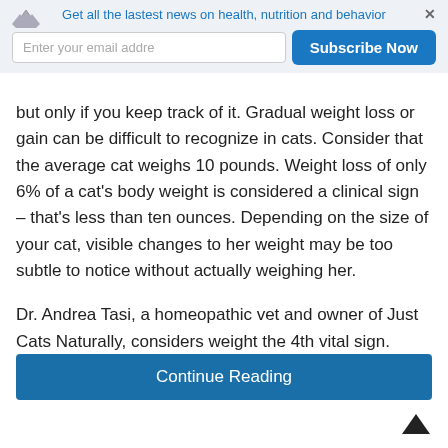Get all the lastest news on health, nutrition and behavior
but only if you keep track of it. Gradual weight loss or gain can be difficult to recognize in cats. Consider that the average cat weighs 10 pounds. Weight loss of only 6% of a cat's body weight is considered a clinical sign – that's less than ten ounces. Depending on the size of your cat, visible changes to her weight may be too subtle to notice without actually weighing her.
Dr. Andrea Tasi, a homeopathic vet and owner of Just Cats Naturally, considers weight the 4th vital sign.
Continue Reading